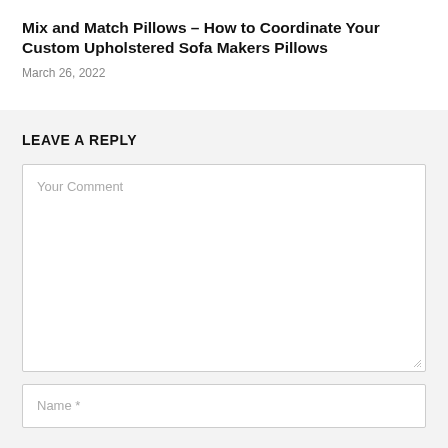Mix and Match Pillows – How to Coordinate Your Custom Upholstered Sofa Makers Pillows
March 26, 2022
LEAVE A REPLY
Your Comment
Name *